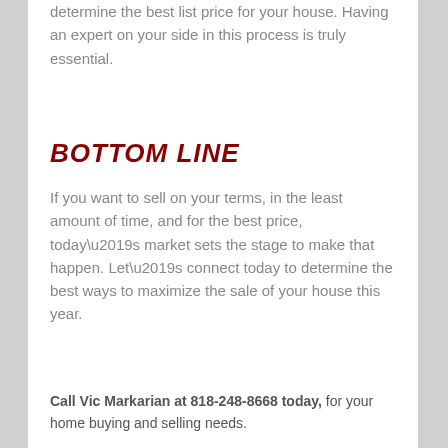determine the best list price for your house. Having an expert on your side in this process is truly essential.
BOTTOM LINE
If you want to sell on your terms, in the least amount of time, and for the best price, today’s market sets the stage to make that happen. Let’s connect today to determine the best ways to maximize the sale of your house this year.
Call Vic Markarian at 818-248-8668 today, for your home buying and selling needs.